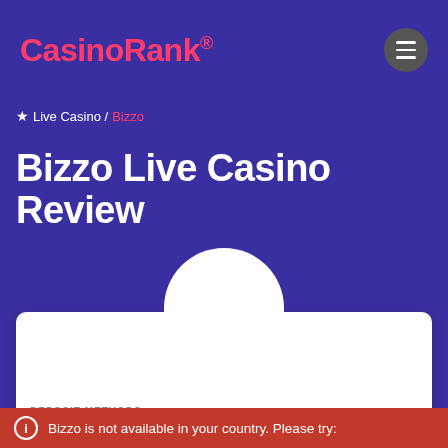CasinoRank®
★ Live Casino / Bizzo
Bizzo Live Casino Review
[Figure (logo): Casino logo placeholder white circle arc above card]
18+
DEPOSIT METHODS
[Figure (logo): Skrill, Mastercard, and NETELLER payment method logos]
ⓘ Bizzo is not available in your country. Please try: